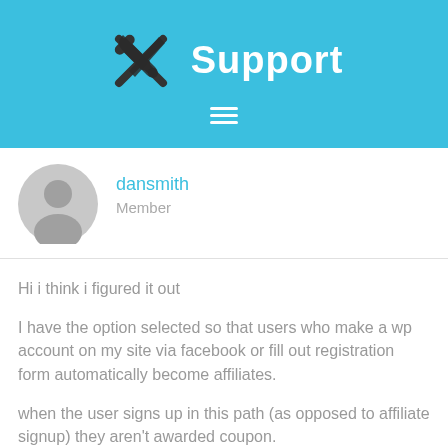Support
dansmith
Member
Hi i think i figured it out

I have the option selected so that users who make a wp account on my site via facebook or fill out registration form automatically become affiliates.

when the user signs up in this path (as opposed to affiliate signup) they aren't awarded coupon.

is there anyway to activate bonus via signup through wp?